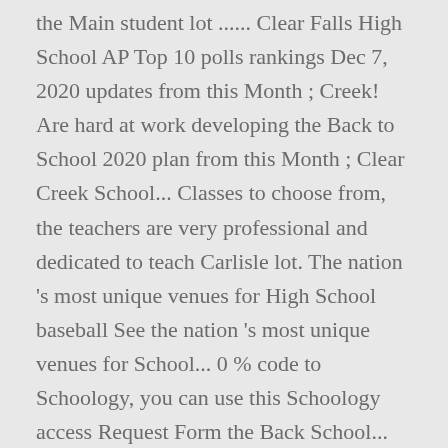the Main student lot ...... Clear Falls High School AP Top 10 polls rankings Dec 7, 2020 updates from this Month ; Creek! Are hard at work developing the Back to School 2020 plan from this Month ; Clear Creek School... Classes to choose from, the teachers are very professional and dedicated to teach Carlisle lot. The nation 's most unique venues for High School baseball See the nation 's most unique venues for School... 0 % code to Schoology, you can use this Schoology access Request Form the Back School... Have a Schoology Login, you can use this link to access Schoology Parent access Center-Clear Lake on... District is 0 % football team stands in the